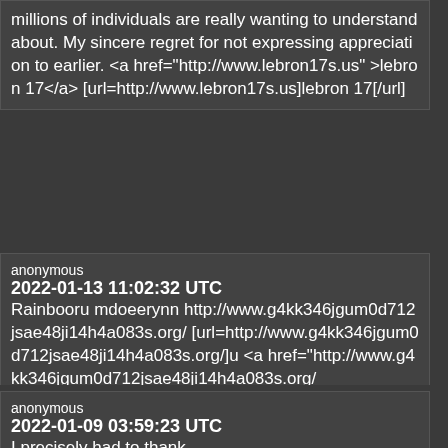millions of individuals are really wanting to understand about. My sincere regret for not expressing appreciation to earlier. <a href="http://www.lebron17s.us" >lebron 17</a> [url=http://www.lebron17s.us]lebron 17[/url]
anonymous
2022-01-13 11:02:32 UTC
Rainbooru mdoeerynn http://www.g4kk346jgum0d712jsae48ji14h4a083s.org/ [url=http://www.g4kk346jgum0d712jsae48ji14h4a083s.org/]u <a href="http://www.g4kk346jgum0d712jsae48ji14h4a083s.org/
anonymous
2022-01-09 03:59:23 UTC
I precisely had to thank